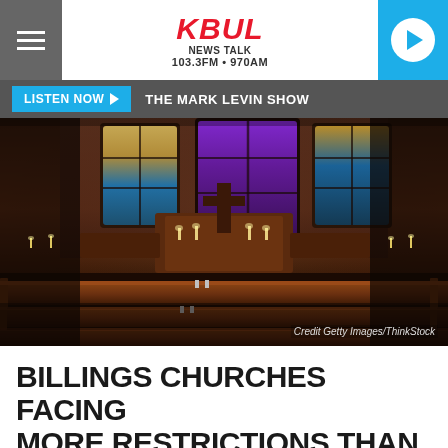KBUL NEWS TALK 103.3FM • 970AM
LISTEN NOW ▶  THE MARK LEVIN SHOW
[Figure (photo): Interior of a church showing rows of wooden pews in the foreground, a pulpit with a cross in the background, and stained glass windows with purple, blue, and gold colors. Credit: Getty Images/ThinkStock]
Credit Getty Images/ThinkStock
BILLINGS CHURCHES FACING MORE RESTRICTIONS THAN